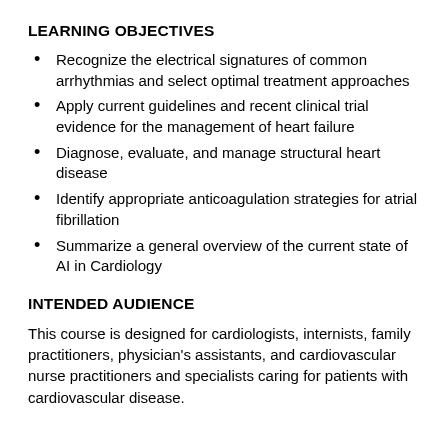LEARNING OBJECTIVES
Recognize the electrical signatures of common arrhythmias and select optimal treatment approaches
Apply current guidelines and recent clinical trial evidence for the management of heart failure
Diagnose, evaluate, and manage structural heart disease
Identify appropriate anticoagulation strategies for atrial fibrillation
Summarize a general overview of the current state of AI in Cardiology
INTENDED AUDIENCE
This course is designed for cardiologists, internists, family practitioners, physician's assistants, and cardiovascular nurse practitioners and specialists caring for patients with cardiovascular disease.